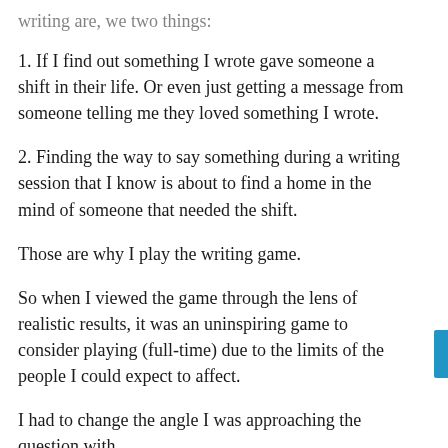writing are, we two things:
1. If I find out something I wrote gave someone a shift in their life. Or even just getting a message from someone telling me they loved something I wrote.
2. Finding the way to say something during a writing session that I know is about to find a home in the mind of someone that needed the shift.
Those are why I play the writing game.
So when I viewed the game through the lens of realistic results, it was an uninspiring game to consider playing (full-time) due to the limits of the people I could expect to affect.
I had to change the angle I was approaching the question with.